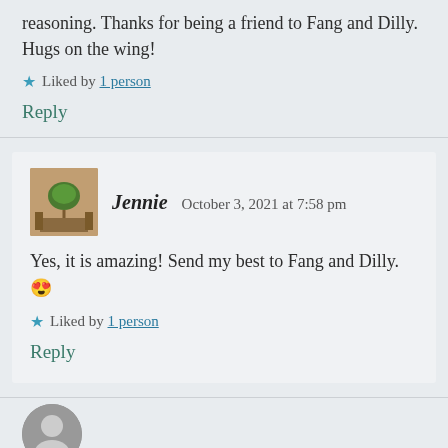reasoning. Thanks for being a friend to Fang and Dilly. Hugs on the wing!
Liked by 1 person
Reply
Jennie   October 3, 2021 at 7:58 pm
Yes, it is amazing! Send my best to Fang and Dilly. 😍
Liked by 1 person
Reply